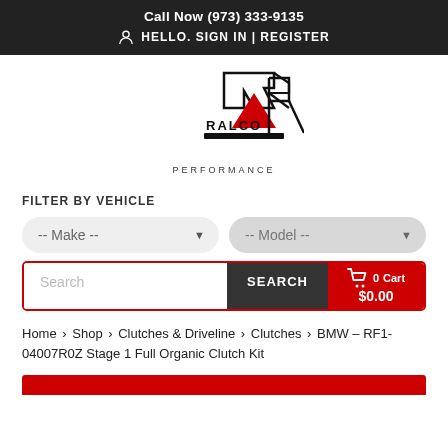Call Now (973) 333-9135  HELLO. SIGN IN | REGISTER
[Figure (logo): Ralco Performance logo — black R with red triangle, text RALCO PERFORMANCE]
FILTER BY VEHICLE
-- Make --   -- Model --   Search  SEARCH  0  Cart  $0.00
Home > Shop > Clutches & Driveline > Clutches > BMW - RF1-04007R0Z Stage 1 Full Organic Clutch Kit